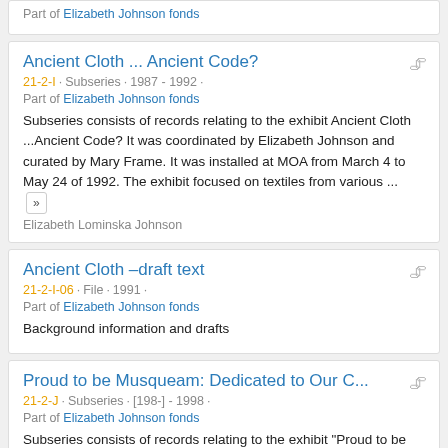Part of Elizabeth Johnson fonds
Ancient Cloth ... Ancient Code?
21-2-I · Subseries · 1987 - 1992 ·
Part of Elizabeth Johnson fonds
Subseries consists of records relating to the exhibit Ancient Cloth ...Ancient Code? It was coordinated by Elizabeth Johnson and curated by Mary Frame. It was installed at MOA from March 4 to May 24 of 1992. The exhibit focused on textiles from various ...
Elizabeth Lominska Johnson
Ancient Cloth –draft text
21-2-I-06 · File · 1991 ·
Part of Elizabeth Johnson fonds
Background information and drafts
Proud to be Musqueam: Dedicated to Our C...
21-2-J · Subseries · [198-] - 1998 ·
Part of Elizabeth Johnson fonds
Subseries consists of records relating to the exhibit "Proud to be Musqueam: Dedicated to Our Children." The exhibit was